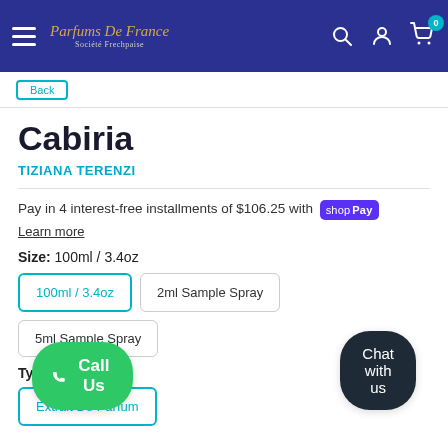Parfums De France — Navigation bar with menu, search, account, cart (0)
Cabiria
TIZIANA TERENZI
Pay in 4 interest-free installments of $106.25 with shop Pay
Learn more
Size: 100ml / 3.4oz
100ml / 3.4oz | 2ml Sample Spray | 5ml Sample Spray
Type: Extrait De Parfum
Call Us
Chat with us